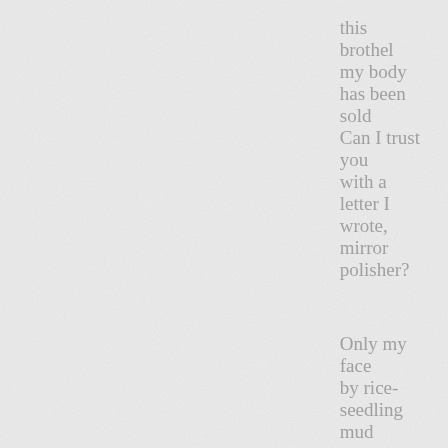this
brothel
my body
has been
sold
Can I trust
you
with a
letter I
wrote,
mirror
polisher?

Only my
face
by rice-
seedling
mud